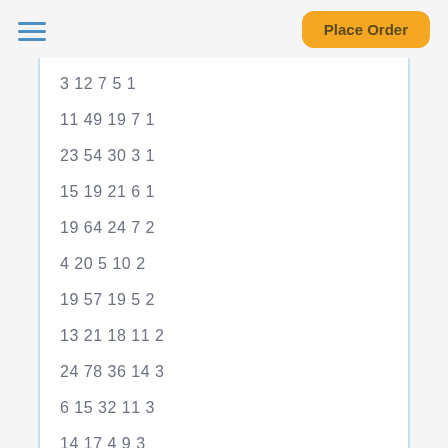Place Order
3 12 7 5 1
11 49 19 7 1
23 54 30 3 1
15 19 21 6 1
19 64 24 7 2
4 20 5 10 2
19 57 19 5 2
13 21 18 11 2
24 78 36 14 3
6 15 32 11 3
14 17 4 9 3